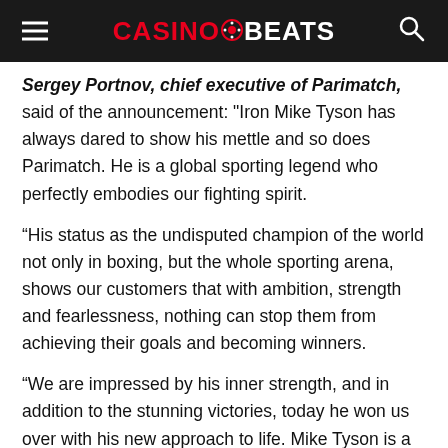CASINOBEATS
Sergey Portnov, chief executive of Parimatch, said of the announcement: "Iron Mike Tyson has always dared to show his mettle and so does Parimatch. He is a global sporting legend who perfectly embodies our fighting spirit.
“His status as the undisputed champion of the world not only in boxing, but the whole sporting arena, shows our customers that with ambition, strength and fearlessness, nothing can stop them from achieving their goals and becoming winners.
“We are impressed by his inner strength, and in addition to the stunning victories, today he won us over with his new approach to life. Mike Tyson is a legend in boxing, and Parimatch is legendary in sports betting, which is why he is the perfect addition to Parimatch’s winning team of brand